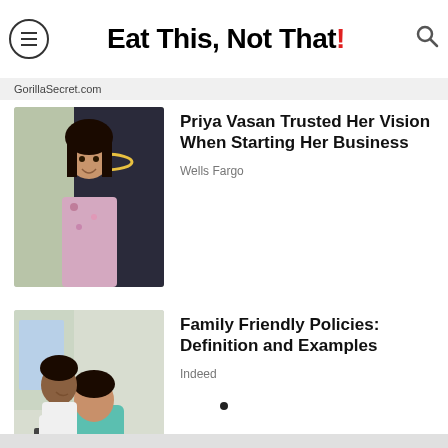Eat This, Not That!
GorillaSecret.com
[Figure (photo): Woman with necklace and floral off-shoulder dress, smiling, holding a dark object, with golden decorative items in background]
Priya Vasan Trusted Her Vision When Starting Her Business
Wells Fargo
[Figure (photo): Woman with curly hair in white shirt leaning over a child in teal shirt, both looking at something off-screen, with a laptop visible]
Family Friendly Policies: Definition and Examples
Indeed